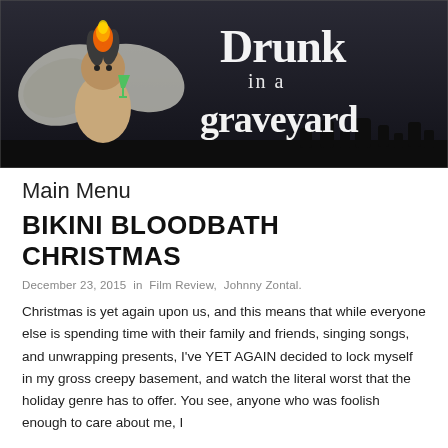[Figure (illustration): Banner image for 'Drunk in a Graveyard' blog. Dark background with graveyard silhouette. Left side shows a muscular winged demon/creature holding a cocktail glass with fire on its head. Right side shows stylized white grunge lettering spelling 'Drunk in a graveyard'.]
Main Menu
BIKINI BLOODBATH CHRISTMAS
December 23, 2015 in Film Review, Johnny Zontal.
Christmas is yet again upon us, and this means that while everyone else is spending time with their family and friends, singing songs, and unwrapping presents, I've YET AGAIN decided to lock myself in my gross creepy basement, and watch the literal worst that the holiday genre has to offer. You see, anyone who was foolish enough to care about me, I